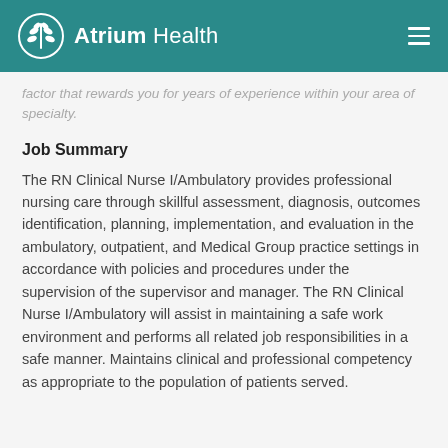Atrium Health
factor that rewards you for years of experience within your area of specialty.
Job Summary
The RN Clinical Nurse I/Ambulatory provides professional nursing care through skillful assessment, diagnosis, outcomes identification, planning, implementation, and evaluation in the ambulatory, outpatient, and Medical Group practice settings in accordance with policies and procedures under the supervision of the supervisor and manager. The RN Clinical Nurse I/Ambulatory will assist in maintaining a safe work environment and performs all related job responsibilities in a safe manner. Maintains clinical and professional competency as appropriate to the population of patients served.